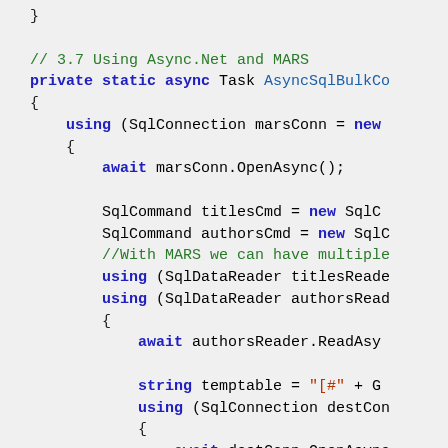[Figure (screenshot): C# source code snippet showing async SQL operations with MARS (Multiple Active Result Sets). Code includes using statements, SqlConnection, SqlCommand, SqlDataReader, await calls, and string manipulation.]